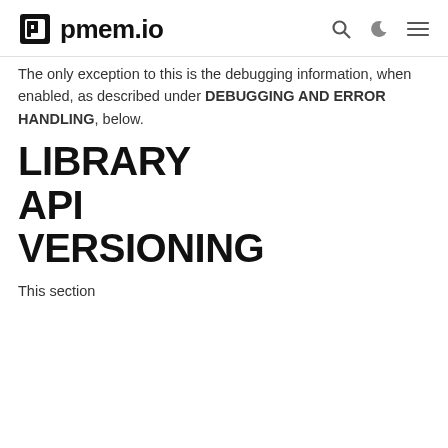pmem.io
The only exception to this is the debugging information, when enabled, as described under DEBUGGING AND ERROR HANDLING, below.
LIBRARY API VERSIONING
This section